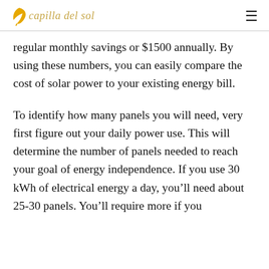capilla del sol
regular monthly savings or $1500 annually. By using these numbers, you can easily compare the cost of solar power to your existing energy bill.
To identify how many panels you will need, very first figure out your daily power use. This will determine the number of panels needed to reach your goal of energy independence. If you use 30 kWh of electrical energy a day, you’ll need about 25-30 panels. You’ll require more if you